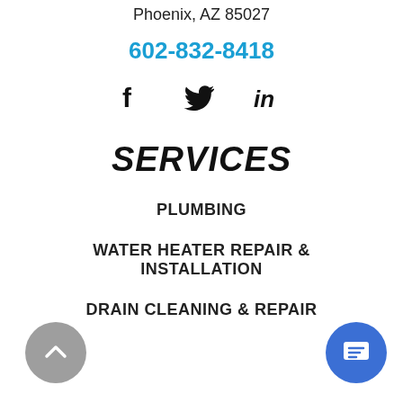Phoenix, AZ 85027
602-832-8418
[Figure (illustration): Social media icons: Facebook, Twitter, LinkedIn]
SERVICES
PLUMBING
WATER HEATER REPAIR & INSTALLATION
DRAIN CLEANING & REPAIR